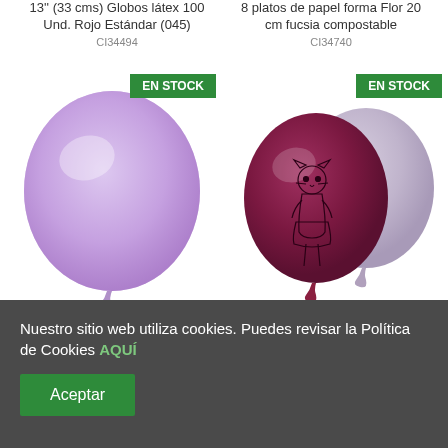13'' (33 cms) Globos látex 100 Und. Rojo Estándar (045)
CI34494
8 platos de papel forma Flor 20 cm fucsia compostable
CI34740
[Figure (photo): Light purple/lavender latex balloon with EN STOCK green badge]
[Figure (photo): Two LOL Surprise printed balloons (dark maroon and light lavender) with EN STOCK green badge]
Nuestro sitio web utiliza cookies. Puedes revisar la Política de Cookies AQUÍ
Aceptar